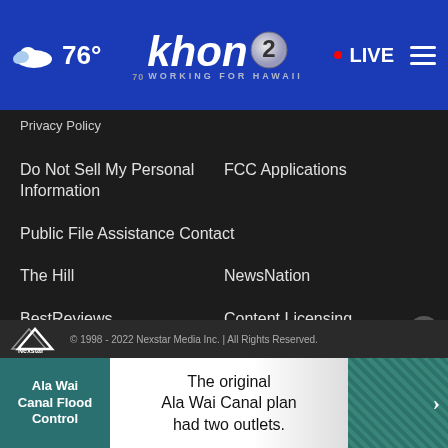76° khon2 WORKING FOR HAWAII LIVE
Privacy Policy
Do Not Sell My Personal Information
FCC Applications
Public File Assistance Contact
The Hill
NewsNation
BestReviews
Content Licensing
Nexstar Digital
© 1998 - 2022 Nexstar Media Inc. | All Rights Reserved.
[Figure (infographic): Ala Wai Canal Flood Control advertisement: 'The original Ala Wai Canal plan had two outlets.']